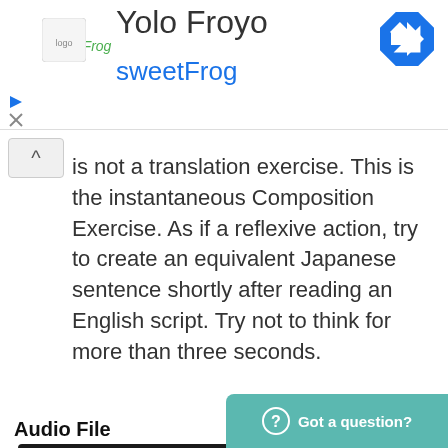Yolo Froyo sweetFrog
is not a translation exercise. This is the instantaneous Composition Exercise. As if a reflexive action, try to create an equivalent Japanese sentence shortly after reading an English script. Try not to think for more than three seconds.
Audio File
[Figure (other): Audio player with play button, time 00:00, progress bar, and end time 00:00]
English and Hidden Japanese Scripts